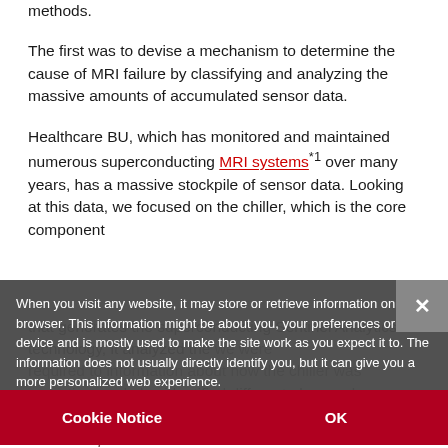methods.
The first was to devise a mechanism to determine the cause of MRI failure by classifying and analyzing the massive amounts of accumulated sensor data.
Healthcare BU, which has monitored and maintained numerous superconducting MRI systems*1 over many years, has a massive stockpile of sensor data. Looking at this data, we focused on the chiller, which is the core component that generates the superconducting Sentinel Analytics technology, it analyzed the we were required to information about how the chiller was operating, and also identified different abnormal behavior patterns and investigated the cause-and-effect relationship.
Healthcare BU amassed the equivalent of data for and d analyzed and to analyze fault patterns. Utilizing the Pentaho big
When you visit any website, it may store or retrieve information on your browser. This information might be about you, your preferences or your device and is mostly used to make the site work as you expect it to. The information does not usually directly identify you, but it can give you a more personalized web experience.